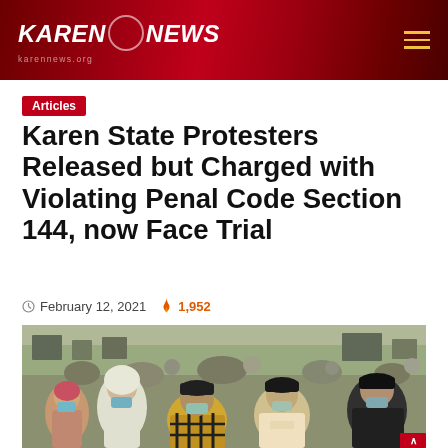Karen News — karennews.org
Articles
Karen State Protesters Released but Charged with Violating Penal Code Section 144, now Face Trial
February 12, 2021  1,952
[Figure (photo): Large crowd of protesters wearing face masks outdoors in Karen State, Myanmar]